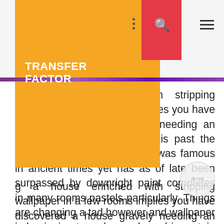TRANSFER FACTOR
g a house enriched with stripping wallpaper in a few rooms implies you have discovered a house gravely needing an absolute makeover before it is past the point of no return! Wallpaper was famous in ancient times yet has as of late been surpassed by downright paint completes in many rooms pastels particularly. Things are changing a tad however and wallpaper is beginning to make a rebound in certain circles. A few strategies for enriching a home never truly leave style. Disregard those enormous fancy structures you recollect as a youngster, presently wallpaper do not really need to look like introverts, if you catch my drift. One of the greatest decorating strategies would be